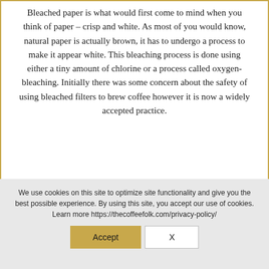Bleached paper is what would first come to mind when you think of paper – crisp and white. As most of you would know, natural paper is actually brown, it has to undergo a process to make it appear white. This bleaching process is done using either a tiny amount of chlorine or a process called oxygen-bleaching. Initially there was some concern about the safety of using bleached filters to brew coffee however it is now a widely accepted practice.
We use cookies on this site to optimize site functionality and give you the best possible experience. By using this site, you accept our use of cookies. Learn more https://thecoffeefolk.com/privacy-policy/